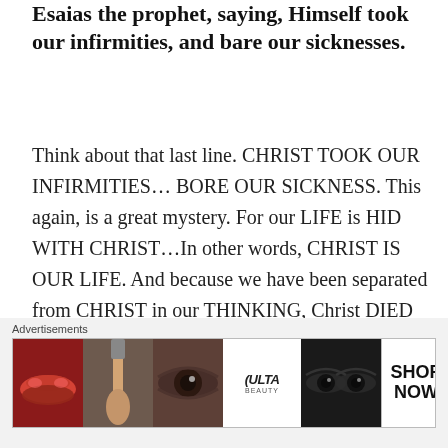Esaias the prophet, saying, Himself took our infirmities, and bare our sicknesses.
Think about that last line. CHRIST TOOK OUR INFIRMITIES… BORE OUR SICKNESS. This again, is a great mystery. For our LIFE is HID WITH CHRIST…In other words, CHRIST IS OUR LIFE. And because we have been separated from CHRIST in our THINKING, Christ DIED because we began to believe we were something and someone that we were not.
[Figure (screenshot): Advertisement banner for Ulta Beauty showing makeup-themed images with a SHOP NOW call to action]